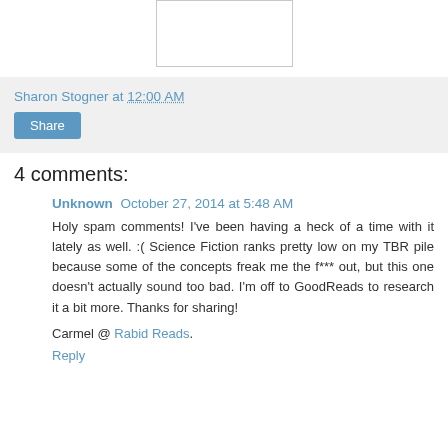[Figure (other): Placeholder image box with border]
Sharon Stogner at 12:00 AM
Share
4 comments:
Unknown  October 27, 2014 at 5:48 AM
Holy spam comments! I've been having a heck of a time with it lately as well. :( Science Fiction ranks pretty low on my TBR pile because some of the concepts freak me the f*** out, but this one doesn't actually sound too bad. I'm off to GoodReads to research it a bit more. Thanks for sharing!
Carmel @ Rabid Reads.
Reply